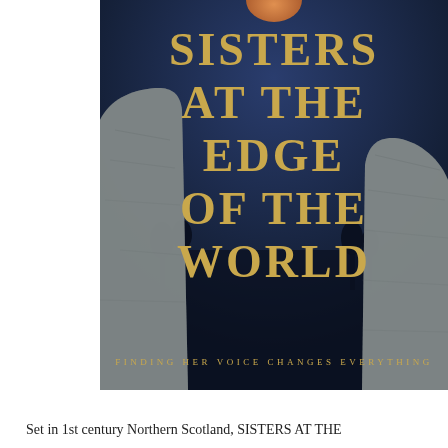[Figure (illustration): Book cover for 'Sisters at the Edge of the World' — dark navy blue background with two large standing stones (megaliths) on left and right sides, a partial moon/sun at the top center, and large gold serif title text reading 'SISTERS AT THE EDGE OF THE WORLD' with subtitle 'FINDING HER VOICE CHANGES EVERYTHING' at the bottom.]
Set in 1st century Northern Scotland, SISTERS AT THE